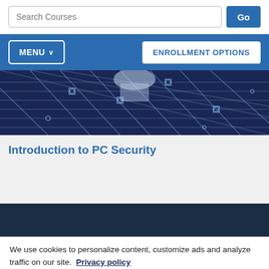Search Courses | Go
MENU ∨ | ENROLLMENT OPTIONS
[Figure (photo): Circuit board close-up with blue background and white circuit traces, with a person's hand partially visible]
Introduction to PC Security
We use cookies to personalize content, customize ads and analyze traffic on our site. Privacy policy
Manage Options | Accept